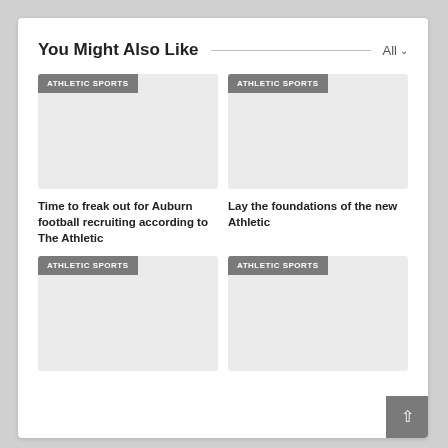You Might Also Like
[Figure (other): Article thumbnail with ATHLETIC SPORTS tag - placeholder image]
[Figure (other): Article thumbnail with ATHLETIC SPORTS tag - placeholder image]
Time to freak out for Auburn football recruiting according to The Athletic
Lay the foundations of the new Athletic
[Figure (other): Article thumbnail with ATHLETIC SPORTS tag - placeholder image]
[Figure (other): Article thumbnail with ATHLETIC SPORTS tag - placeholder image]